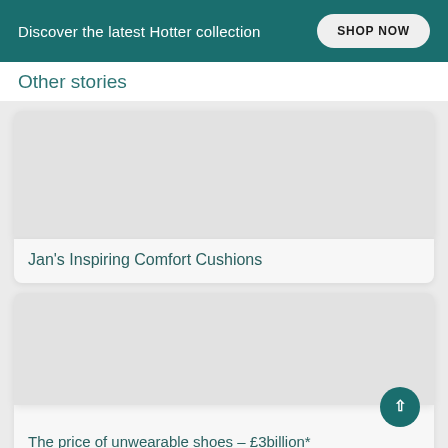Discover the latest Hotter collection  SHOP NOW
Other stories
[Figure (photo): Placeholder image area for Jan's Inspiring Comfort Cushions article card]
Jan's Inspiring Comfort Cushions
[Figure (photo): Placeholder image area for The price of unwearable shoes – £3billion* article card]
The price of unwearable shoes – £3billion*